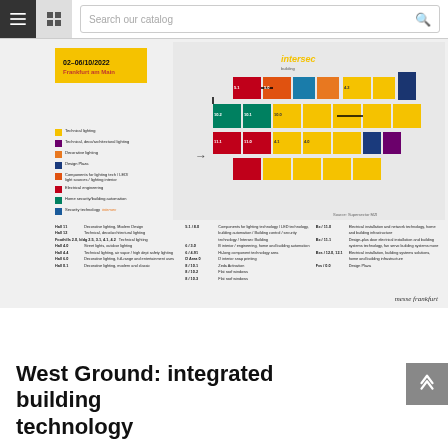Search our catalog
[Figure (map): Intersec 2022 Frankfurt am Main trade fair floor plan showing halls color-coded by sector: Technical lighting, Technical deco/architectural lighting, Decorative lighting, Design Plaza, Components for lighting/LED technology/light sources/lighting interior, Electrical engineering, Home security/building automation, Security technology. Date: 02-06/10/2022 Frankfurt am Main. Source: Supersector MZI. messe frankfurt]
West Ground: integrated building technology